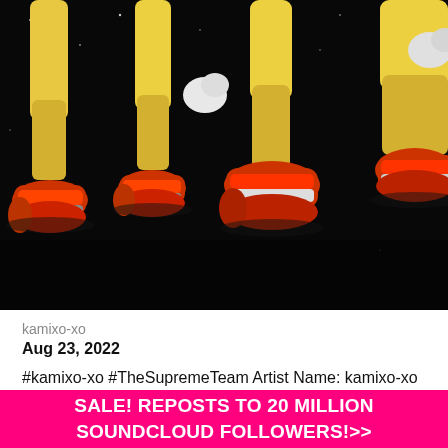[Figure (photo): Photograph of multiple Sonic the Hedgehog action figures (in golden/super form) shown from the waist down, with yellow legs and red and white sneakers/shoes against a black starry background.]
kamixo-xo
Aug 23, 2022
#kamixo-xo #TheSupremeTeam Artist Name: kamixo-xo Who are you? I am an artist that is very hardworking and abide by the rules Where are you from? I am an American working hard since my
SALE! REPOSTS TO 20 MILLION SOUNDCLOUD FOLLOWERS!>>